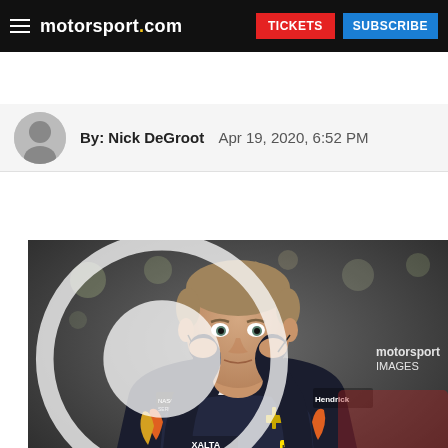motorsport.com | TICKETS | SUBSCRIBE
By: Nick DeGroot   Apr 19, 2020, 6:52 PM
[Figure (photo): A young NASCAR driver in a dark Hendrick Motorsports / Axalta / Liberty University uniform adjusting his earpiece in the garage area. Motorsport Images watermark visible in the lower right.]
Bobby Labonte, Landon Cassill, Daniel Suarez and